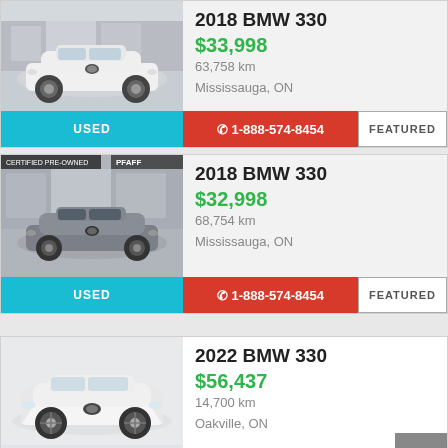[Figure (photo): White 2018 BMW 330 parked in front of dealership]
2018 BMW 330
$33,998
63,758 km
Mississauga, ON
USED
1-888-574-8454
FEATURED
[Figure (photo): Gray 2018 BMW 330 at Pfaff dealership, certified pre-owned]
2018 BMW 330
$32,998
68,754 km
Mississauga, ON
USED
1-888-574-8454
FEATURED
[Figure (photo): White 2022 BMW 330 sedan on white background]
2022 BMW 330
$56,437
14,700 km
Oakville, ON
USED
1-888-561-7073
[Figure (photo): 2020 BMW 330 at Budds' BMW dealership]
2020 BMW 330
$47,980